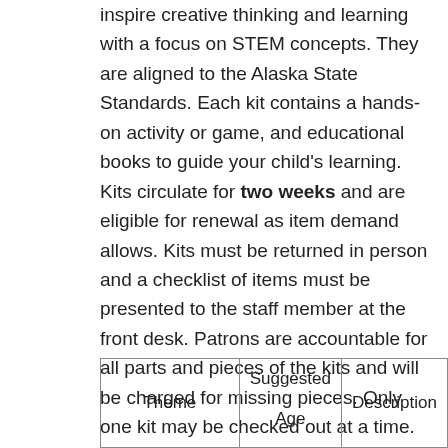inspire creative thinking and learning with a focus on STEM concepts. They are aligned to the Alaska State Standards. Each kit contains a hands-on activity or game, and educational books to guide your child's learning. Kits circulate for two weeks and are eligible for renewal as item demand allows. Kits must be returned in person and a checklist of items must be presented to the staff member at the front desk. Patrons are accountable for all parts and pieces of the kits and will be charged for missing pieces. Only one kit may be checked out at a time.
| Theme | Suggested Age | Description |
| --- | --- | --- |